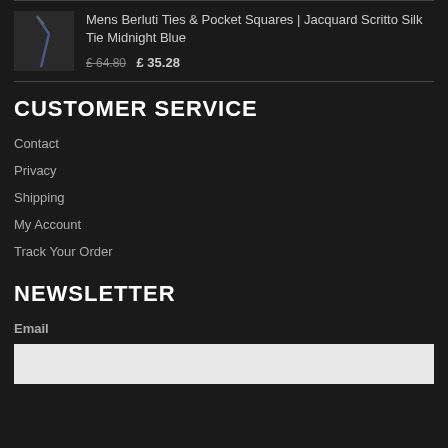Mens Berluti Ties & Pocket Squares | Jacquard Scritto Silk Tie Midnight Blue £ 64.80 £ 35.28
CUSTOMER SERVICE
Contact
Privacy
Shipping
My Account
Track Your Order
NEWSLETTER
Email